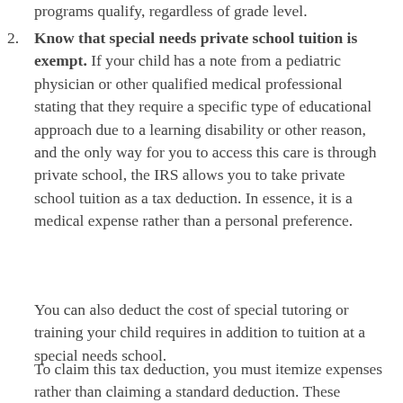programs qualify, regardless of grade level.
Know that special needs private school tuition is exempt. If your child has a note from a pediatric physician or other qualified medical professional stating that they require a specific type of educational approach due to a learning disability or other reason, and the only way for you to access this care is through private school, the IRS allows you to take private school tuition as a tax deduction. In essence, it is a medical expense rather than a personal preference.
You can also deduct the cost of special tutoring or training your child requires in addition to tuition at a special needs school.
To claim this tax deduction, you must itemize expenses rather than claiming a standard deduction. These would need to qualify as specific medical expenses and reduce your